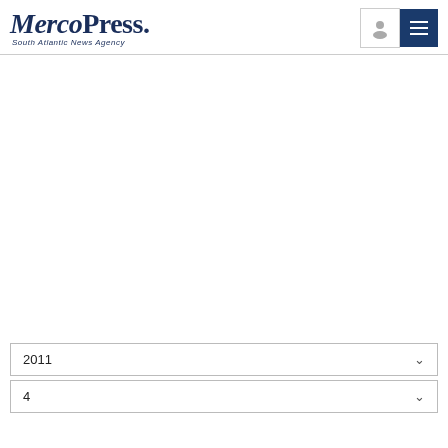MercoPress. South Atlantic News Agency
2011
4